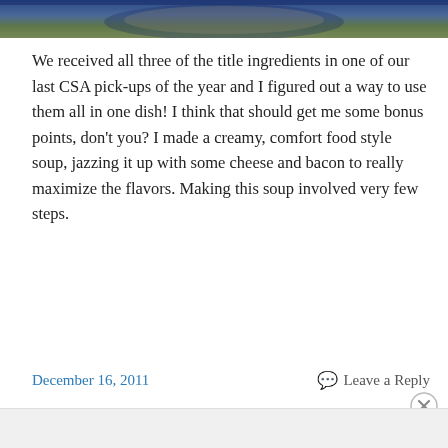[Figure (photo): Top portion of a food photo showing a soup in a blue bowl on a green surface]
We received all three of the title ingredients in one of our last CSA pick-ups of the year and I figured out a way to use them all in one dish! I think that should get me some bonus points, don't you? I made a creamy, comfort food style soup, jazzing it up with some cheese and bacon to really maximize the flavors. Making this soup involved very few steps.
Continue reading →
December 16, 2011    Leave a Reply
Advertisements